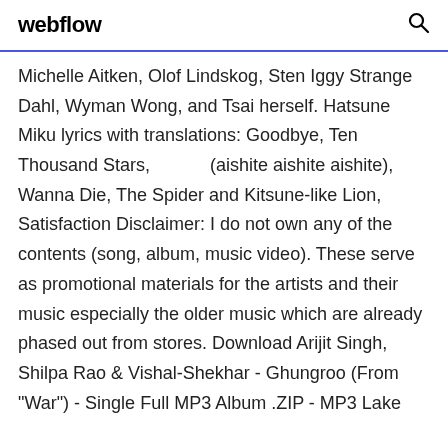webflow
Michelle Aitken, Olof Lindskog, Sten Iggy Strange Dahl, Wyman Wong, and Tsai herself. Hatsune Miku lyrics with translations: Goodbye, Ten Thousand Stars, (aishite aishite aishite), Wanna Die, The Spider and Kitsune-like Lion, Satisfaction Disclaimer: I do not own any of the contents (song, album, music video). These serve as promotional materials for the artists and their music especially the older music which are already phased out from stores. Download Arijit Singh, Shilpa Rao & Vishal-Shekhar - Ghungroo (From "War") - Single Full MP3 Album .ZIP - MP3 Lake